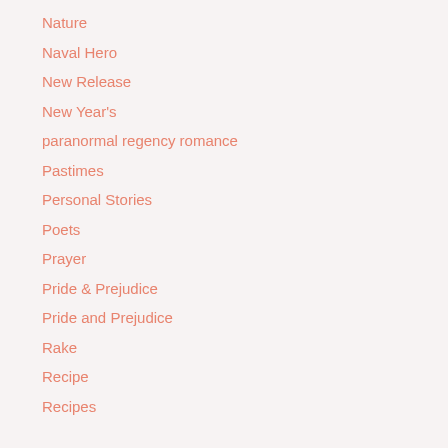Nature
Naval Hero
New Release
New Year's
paranormal regency romance
Pastimes
Personal Stories
Poets
Prayer
Pride & Prejudice
Pride and Prejudice
Rake
Recipe
Recipes